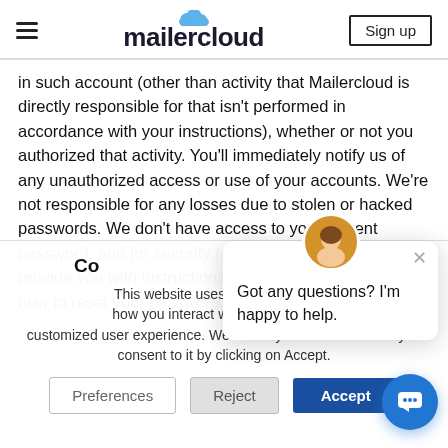mailercloud | Sign up
in such account (other than activity that Mailercloud is directly responsible for that isn't performed in accordance with your instructions), whether or not you authorized that activity. You'll immediately notify us of any unauthorized access or use of your accounts. We're not responsible for any losses due to stolen or hacked passwords. We don't have access to your current password, and for security reasons, we may only provide you with instructions on how to reset your password. We have the right to update
[Figure (screenshot): Cookie consent overlay banner with title 'Co[okies]', body text about website cookies and customized user experience, and three buttons: Preferences, Reject, Accept]
[Figure (screenshot): Chat assistant popup with female avatar and text: 'Got any questions? I'm happy to help.' with a close X button]
[Figure (screenshot): Blue circular chat/support FAB button in bottom-right corner]